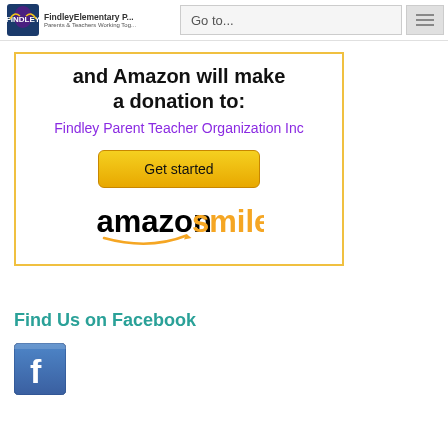FindleyElementary P... | Go to... | [menu]
[Figure (screenshot): AmazonSmile donation widget showing 'and Amazon will make a donation to: Findley Parent Teacher Organization Inc' with a Get started button and the amazonsmile logo]
Find Us on Facebook
[Figure (logo): Facebook logo icon (blue square with white f)]